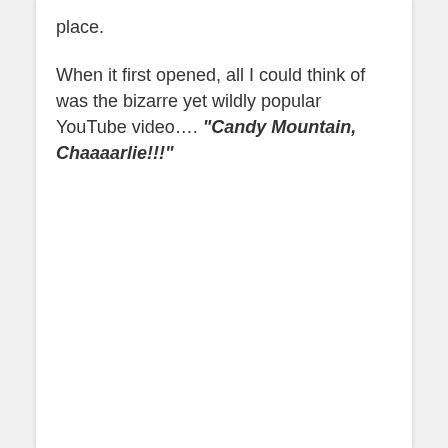place.
When it first opened, all I could think of was the bizarre yet wildly popular YouTube video…. “Candy Mountain, Chaaaarlie!!!”